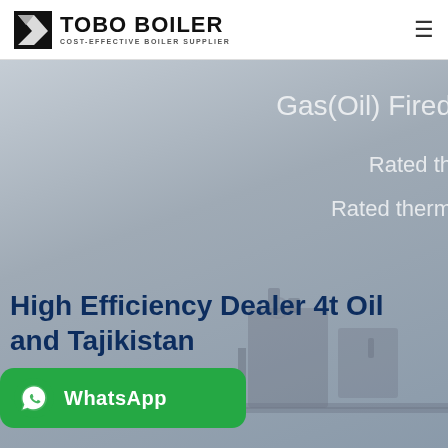TOBO BOILER — COST-EFFECTIVE BOILER SUPPLIER
[Figure (screenshot): Hero banner with boiler machinery background, partially visible text: Gas(Oil) Fired, Rated th..., Rated therm..., and main headline High Efficiency Dealer 4t Oil and Tajikistan, with WhatsApp button overlay]
High Efficiency Dealer 4t Oil and Tajikistan